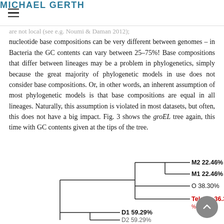MICHAEL GERTH
are not local (see e.g. Noumi & Daman 2012); nucleotide base compositions can be very different between genomes – in Bacteria the GC contents can vary between 25–75%! Base compositions that differ between lineages may be a problem in phylogenetics, simply because the great majority of phylogenetic models in use does not consider base compositions. Or, in other words, an inherent assumption of most phylogenetic models is that base compositions are equal in all lineages. Naturally, this assumption is violated in most datasets, but often, this does not have a big impact. Fig. 3 shows the groEL tree again, this time with GC contents given at the tips of the tree.
[Figure (other): Partial phylogenetic tree showing tips labeled M2 22.46%, M1 22.46%, O 38.30%, Telema 36.36% (in red), D1 59.29%, and a partially visible label below. The tree uses standard cladogram lines.]